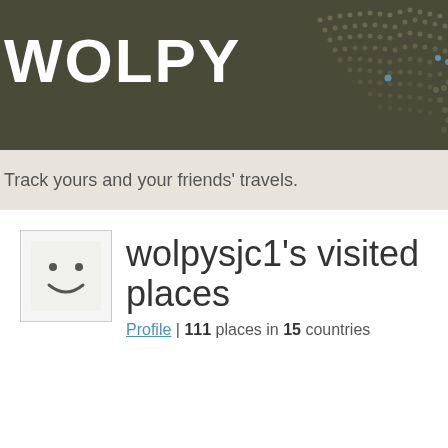WOLPY
Track yours and your friends' travels.
[Figure (illustration): User avatar with smiley face icon in a light gray bordered square]
wolpysjc1's visited places
Profile | 111 places in 15 countries